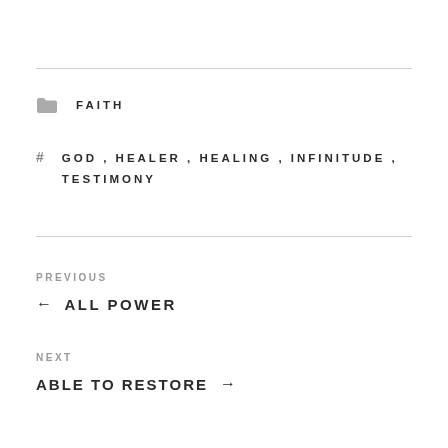FAITH
GOD , HEALER , HEALING , INFINITUDE , TESTIMONY
PREVIOUS
← ALL POWER
NEXT
ABLE TO RESTORE →